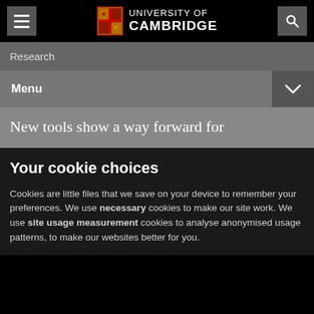University of Cambridge
Research
Menu
New tools show a way forward for
Your cookie choices
Cookies are little files that we save on your device to remember your preferences. We use necessary cookies to make our site work. We use site usage measurement cookies to analyse anonymised usage patterns, to make our websites better for you.